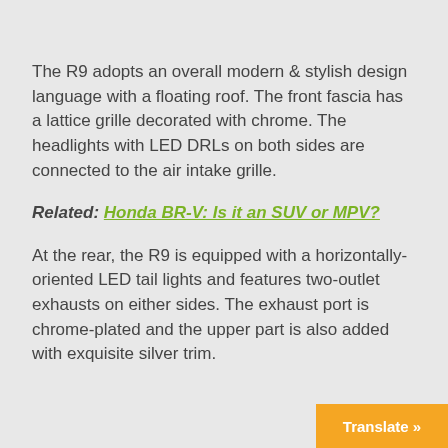The R9 adopts an overall modern & stylish design language with a floating roof. The front fascia has a lattice grille decorated with chrome. The headlights with LED DRLs on both sides are connected to the air intake grille.
Related: Honda BR-V: Is it an SUV or MPV?
At the rear, the R9 is equipped with a horizontally-oriented LED tail lights and features two-outlet exhausts on either sides. The exhaust port is chrome-plated and the upper part is also added with exquisite silver trim.